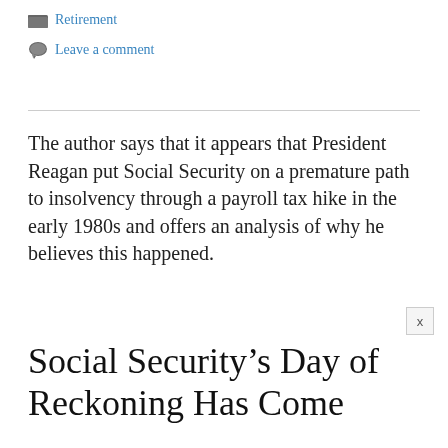Retirement
Leave a comment
The author says that it appears that President Reagan put Social Security on a premature path to insolvency through a payroll tax hike in the early 1980s and offers an analysis of why he believes this happened.
Social Security’s Day of Reckoning Has Come